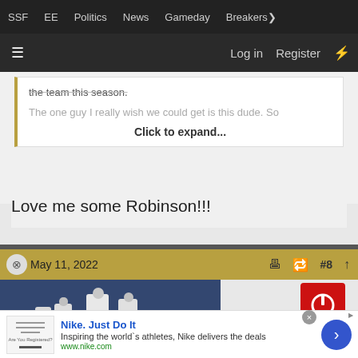SSF  EE  Politics  News  Gameday  Breakers
Log in  Register
the team this season.
The one guy I really wish we could get is this dude. So
Click to expand...
Love me some Robinson!!!
May 11, 2022  #8
[Figure (photo): Football players in white jerseys numbered 1, 14, 28, 15 on field, with play button overlay indicating video content]
[Figure (other): Red power button icon]
content, tailor your experience an
[Figure (other): Nike advertisement banner: Nike. Just Do It. Inspiring the world's athletes, Nike delivers the deals. www.nike.com]